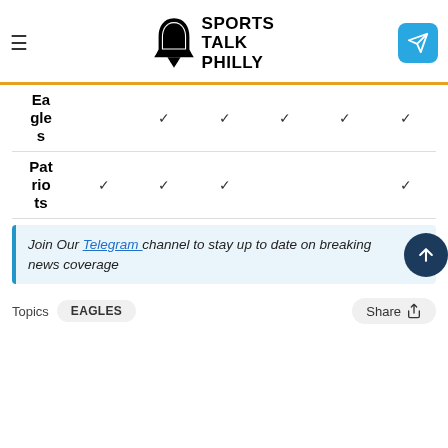Sports Talk Philly
| Team |  |  |  |  |  |  |
| --- | --- | --- | --- | --- | --- | --- |
| Eagles | ✓ | ✓ | ✓ | ✓ | ✓ |
| Patriots | ✓ | ✓ | ✓ |  | ✓ |
Join Our Telegram channel to stay up to date on breaking news coverage
Topics  EAGLES  Share